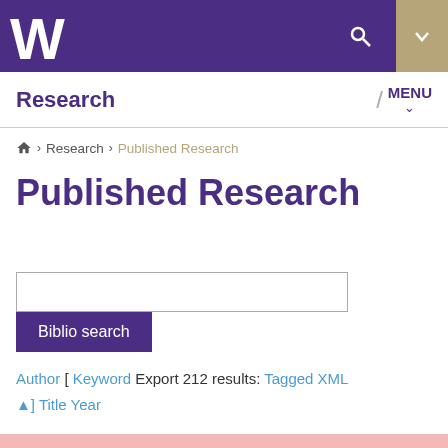[Figure (screenshot): University of Washington purple header bar with W logo, search icon, and gold arrow/menu button]
Research  /  MENU
Home > Research > Published Research
Published Research
Biblio search
Author [ Keyword  Export 212 results:  Tagged  XML  ▲] Title Year